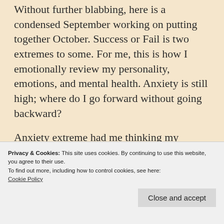Without further blabbing, here is a condensed September working on putting together October. Success or Fail is two extremes to some. For me, this is how I emotionally review my personality, emotions, and mental health. Anxiety is still high; where do I go forward without going backward?
Anxiety extreme had me thinking my husband was leaving me because he worked at the office for twelve hours. After some hearty
Privacy & Cookies: This site uses cookies. By continuing to use this website, you agree to their use.
To find out more, including how to control cookies, see here: Cookie Policy
was incredibly proud that it only took me five